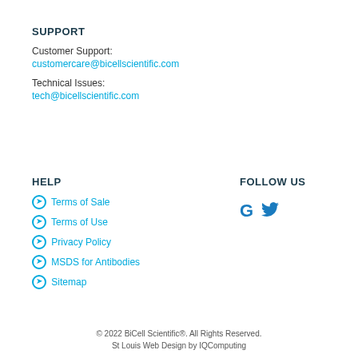SUPPORT
Customer Support:
customercare@bicellscientific.com
Technical Issues:
tech@bicellscientific.com
HELP
⊕ Terms of Sale
⊕ Terms of Use
⊕ Privacy Policy
⊕ MSDS for Antibodies
⊕ Sitemap
FOLLOW US
© 2022 BiCell Scientific®. All Rights Reserved.
St Louis Web Design by IQComputing